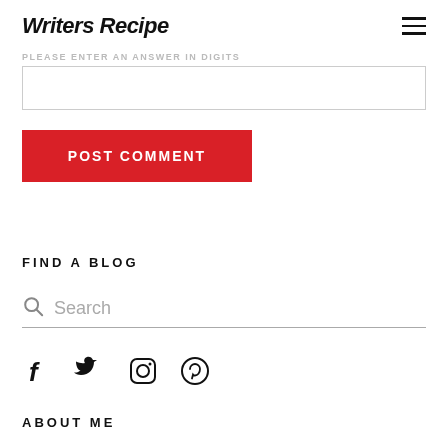Writers Recipe
PLEASE ENTER AN ANSWER IN DIGITS
POST COMMENT
FIND A BLOG
Search
[Figure (infographic): Social media icons: Facebook, Twitter, Instagram, Pinterest]
ABOUT ME